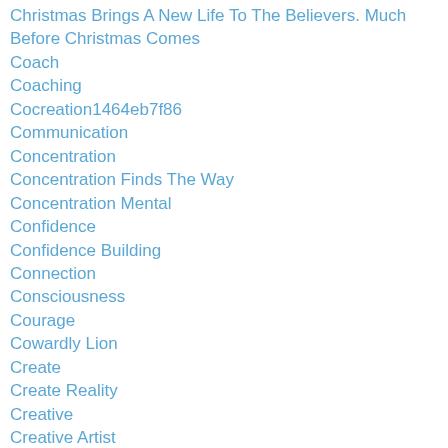Christmas Brings A New Life To The Believers. Much Before Christmas Comes
Coach
Coaching
Cocreation1464eb7f86
Communication
Concentration
Concentration Finds The Way
Concentration Mental
Confidence
Confidence Building
Connection
Consciousness
Courage
Cowardly Lion
Create
Create Reality
Creative
Creative Artist
Creative Imagination
Creative Problem Solving